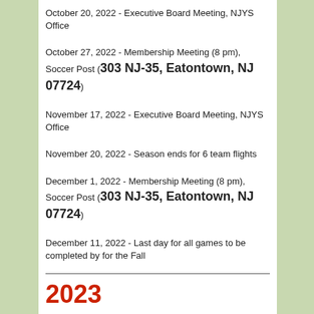October 20, 2022 - Executive Board Meeting, NJYS Office
October 27, 2022 - Membership Meeting (8 pm), Soccer Post (303 NJ-35, Eatontown, NJ 07724)
November 17, 2022 - Executive Board Meeting, NJYS Office
November 20, 2022 - Season ends for 6 team flights
December 1, 2022 - Membership Meeting (8 pm), Soccer Post (303 NJ-35, Eatontown, NJ 07724)
December 11, 2022 - Last day for all games to be completed by for the Fall
2023